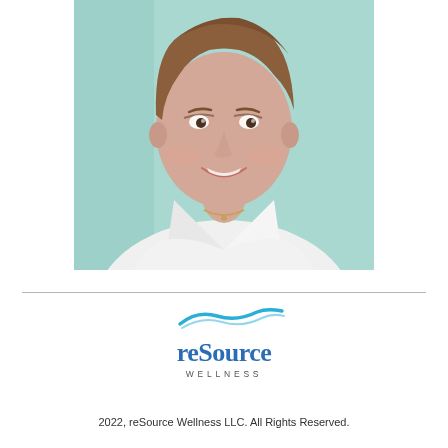[Figure (photo): Professional headshot of a smiling woman with short brown hair, wearing a white collared shirt and a necklace, against a light teal background.]
[Figure (logo): reSource Wellness logo: a teal wave swoosh above the text 'reSource' in blue with 'WELLNESS' in small spaced caps below.]
2022, reSource Wellness LLC. All Rights Reserved.